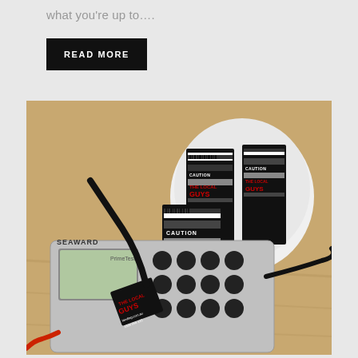what you're up to….
READ MORE
[Figure (photo): A Seaward electrical test and tag device (PAT tester) with probe leads attached, sitting on a wooden surface. In the background is a roll of black and white caution labels reading 'THE LOCAL GUYS TEST & TAG' with barcodes. A test and tag label is affixed to the cable near the device showing 'THE LOCAL GUYS TEST & TAG' branding, tandtag.com.au, and phone number 1800 956 225.]